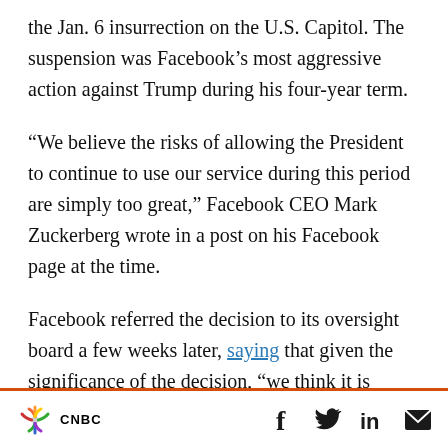the Jan. 6 insurrection on the U.S. Capitol. The suspension was Facebook's most aggressive action against Trump during his four-year term.
“We believe the risks of allowing the President to continue to use our service during this period are simply too great,” Facebook CEO Mark Zuckerberg wrote in a post on his Facebook page at the time.
Facebook referred the decision to its oversight board a few weeks later, saying that given the significance of the decision, “we think it is important for the board to review it and reach an
CNBC [logo] | [Facebook] [Twitter] [LinkedIn] [Email]